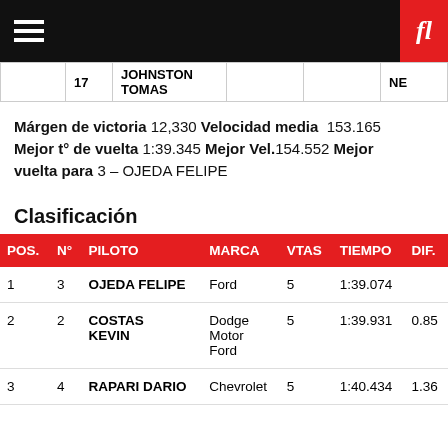fl
|  | 17 | JOHNSTON TOMAS |  |  | NE |
| --- | --- | --- | --- | --- | --- |
Márgen de victoria 12,330 Velocidad media 153.165 Mejor t° de vuelta 1:39.345 Mejor Vel.154.552 Mejor vuelta para 3 – OJEDA FELIPE
Clasificación
| POS. | N° | PILOTO | MARCA | VTAS | TIEMPO | DIF. |
| --- | --- | --- | --- | --- | --- | --- |
| 1 | 3 | OJEDA FELIPE | Ford | 5 | 1:39.074 |  |
| 2 | 2 | COSTAS KEVIN | Dodge Motor Ford | 5 | 1:39.931 | 0.85 |
| 3 | 4 | RAPARI DARIO | Chevrolet | 5 | 1:40.434 | 1.36 |